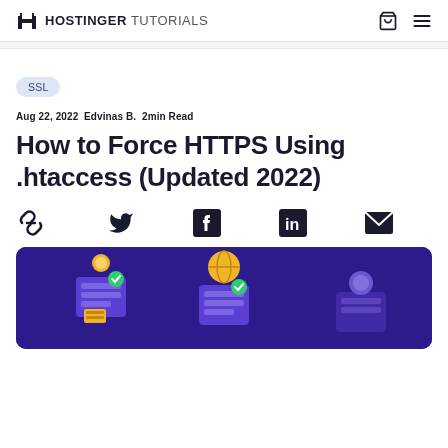HOSTINGER TUTORIALS
SSL
Aug 22, 2022  Edvinas B.  2min Read
How to Force HTTPS Using .htaccess (Updated 2022)
[Figure (illustration): Social sharing icons row: link/chain icon, Twitter bird icon, Facebook square icon, LinkedIn square icon, email envelope icon]
[Figure (illustration): Hero illustration showing purple server/cube icons with gold globe and coin icons on dark purple background]